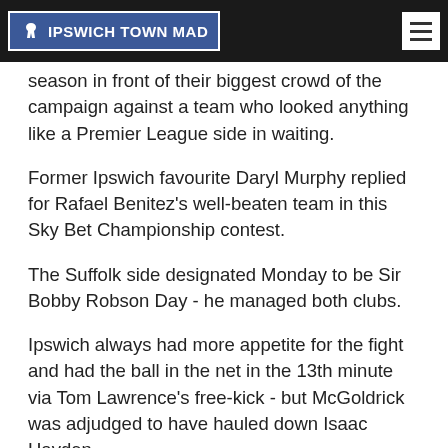IPSWICH TOWN MAD
season in front of their biggest crowd of the campaign against a team who looked anything like a Premier League side in waiting.
Former Ipswich favourite Daryl Murphy replied for Rafael Benitez's well-beaten team in this Sky Bet Championship contest.
The Suffolk side designated Monday to be Sir Bobby Robson Day - he managed both clubs.
Ipswich always had more appetite for the fight and had the ball in the net in the 13th minute via Tom Lawrence's free-kick - but McGoldrick was adjudged to have hauled down Isaac Hayden.
Minutes later, Sears was sent clear by a brilliant through-